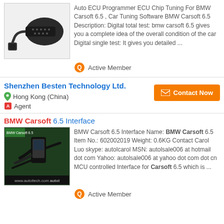[Figure (photo): Photo of automotive OBD cable connector with DB15 connector on white/light grey background]
Auto ECU Programmer ECU Chip Tuning For BMW Carsoft 6.5 , Car Tuning Software BMW Carsoft 6.5 Description: Digital total test: bmw carsoft 6.5 gives you a complete idea of the overall condition of the car Digital single test: It gives you detailed ...
Active Member
Shenzhen Besten Technology Ltd.
Hong Kong (China)
Agent
Contact Now
BMW Carsoft 6.5 Interface
[Figure (photo): Photo of BMW Carsoft 6.5 interface kit with cables and device on dark green background with autol branding]
BMW Carsoft 6.5 Interface Name: BMW Carsoft 6.5 Item No.: 602002019 Weight: 0.6KG Contact Carol Luo skype: autolcarol MSN: autolsale006 at hotmail dot com Yahoo: autolsale006 at yahoo dot com dot cn MCU controlled Interface for Carsoft 6.5 which is ...
Active Member